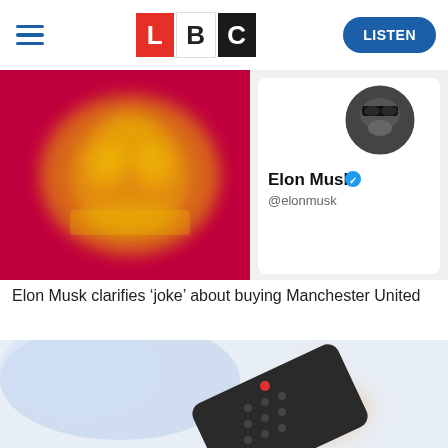LBC — LISTEN
[Figure (photo): Composite image: blurred Manchester United crest on left, Elon Musk Twitter/X profile on right showing name 'Elon Musk' with blue verified checkmark and handle '@elonmusk']
Elon Musk clarifies ‘joke’ about buying Manchester United
[Figure (photo): Blurred image of a hand holding a TV remote control against a light background]